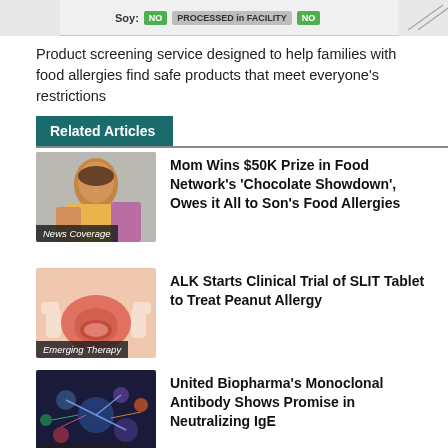[Figure (screenshot): Top bar showing allergen info: Soy: NO | PROCESSED in FACILITY | NO]
Product screening service designed to help families with food allergies find safe products that meet everyone's restrictions
Related Articles
[Figure (photo): Photo of a woman smiling, labeled News Coverage]
Mom Wins $50K Prize in Food Network's 'Chocolate Showdown', Owes it All to Son's Food Allergies
[Figure (illustration): Illustration of open mouth/tongue, labeled Emerging Therapy]
ALK Starts Clinical Trial of SLIT Tablet to Treat Peanut Allergy
[Figure (illustration): Colorful illustration of antibodies/IgE, labeled Emerging Therapy]
United Biopharma's Monoclonal Antibody Shows Promise in Neutralizing IgE